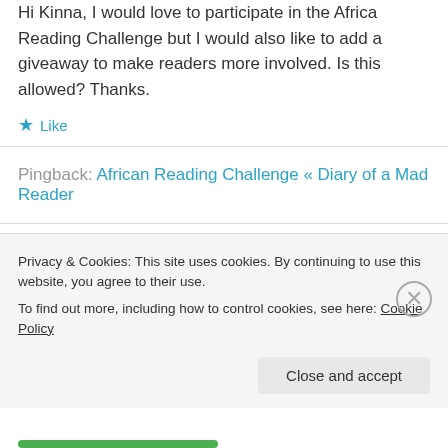Hi Kinna, I would love to participate in the Africa Reading Challenge but I would also like to add a giveaway to make readers more involved. Is this allowed? Thanks.
Like
Pingback: African Reading Challenge « Diary of a Mad Reader
readinpleasure on August 9, 2012 at 7:18 pm
Privacy & Cookies: This site uses cookies. By continuing to use this website, you agree to their use.
To find out more, including how to control cookies, see here: Cookie Policy